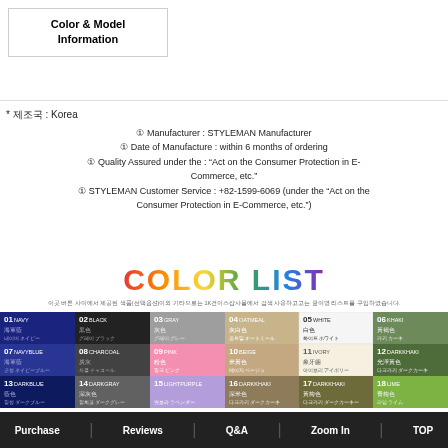Color & Model Information
* 제조국 : Korea
① Manufacturer : STYLEMAN Manufacturer
① Date of Manufacture : within 6 months of ordering
① Quality Assured under the : "Act on the Consumer Protection in E-Commerce, etc."
① STYLEMAN Customer Service : +82-1599-6069 (under the "Act on the Consumer Protection in E-Commerce, etc.")
[Figure (infographic): COLOR LIST colorful gradient title graphic with Korean explanatory text and dark button]
[Figure (table-as-image): Color list grid showing color swatches numbered 01-29+, with Korean and Japanese color names]
Purchase  Reviews  Q&A  Zoom In  TOP